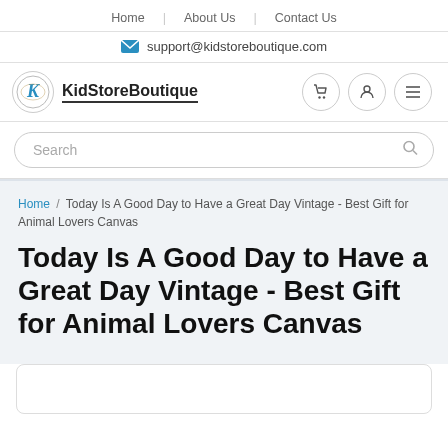Home | About Us | Contact Us
support@kidstoreboutique.com
[Figure (logo): KidStoreBoutique logo with circular emblem and bold brand name text]
Search
Home / Today Is A Good Day to Have a Great Day Vintage - Best Gift for Animal Lovers Canvas
Today Is A Good Day to Have a Great Day Vintage - Best Gift for Animal Lovers Canvas